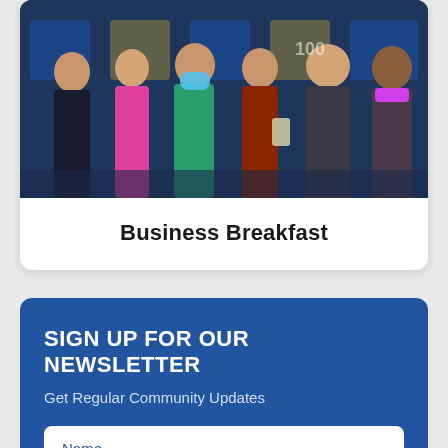[Figure (photo): Group of six people standing in front of a banner background with blue and yellow branding. One person is wearing a blue face mask and holding something. Another person in a rust/red dress is holding a glass award trophy.]
Business Breakfast
SIGN UP FOR OUR NEWSLETTER
Get Regular Community Updates
Name